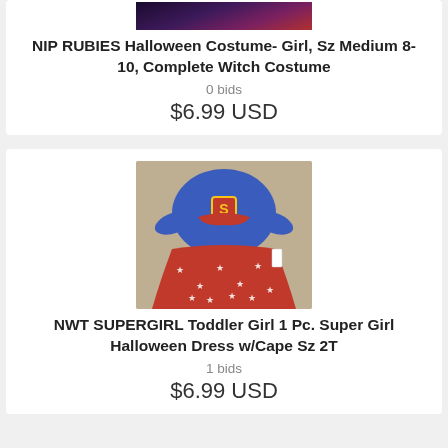[Figure (photo): Partial view of a Halloween witch costume product photo (cropped at top)]
NIP RUBIES Halloween Costume- Girl, Sz Medium 8-10, Complete Witch Costume
0 bids
$6.99 USD
[Figure (photo): Supergirl toddler Halloween dress with blue top and red star-print skirt with cape, size 2T, NWT]
NWT SUPERGIRL Toddler Girl 1 Pc. Super Girl Halloween Dress w/Cape Sz 2T
1 bids
$6.99 USD